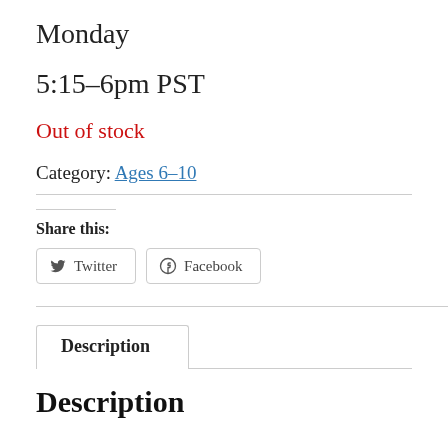Monday
5:15-6pm PST
Out of stock
Category: Ages 6-10
Share this:
Twitter
Facebook
Description
Description